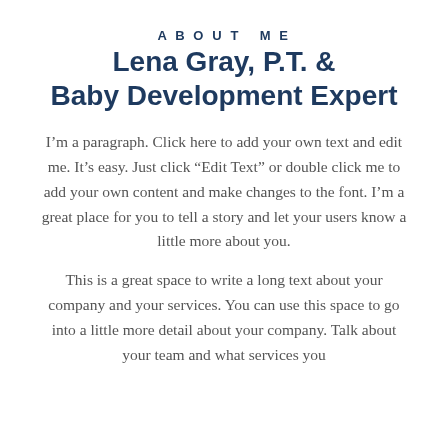ABOUT ME
Lena Gray, P.T. & Baby Development Expert
I’m a paragraph. Click here to add your own text and edit me. It’s easy. Just click “Edit Text” or double click me to add your own content and make changes to the font. I’m a great place for you to tell a story and let your users know a little more about you.
This is a great space to write a long text about your company and your services. You can use this space to go into a little more detail about your company. Talk about your team and what services you